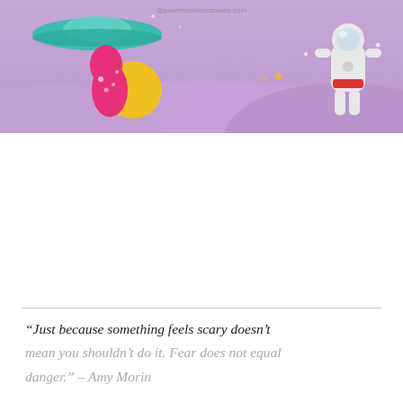[Figure (illustration): Colorful space-themed illustration banner showing an alien/UFO with teal flying saucer on the left with a red-haired character and yellow circle, purple landscape ground, scattered stars and planets, and an astronaut figure in white suit on the right. Watermark text reads '@powersandoccasions.com'.]
“Just because something feels scary doesn’t mean you shouldn’t do it. Fear does not equal danger.” – Amy Morin